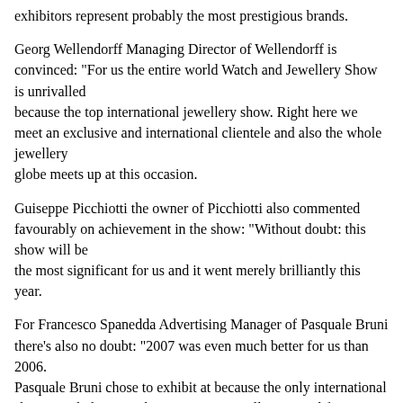exhibitors represent probably the most prestigious brands.
Georg Wellendorff Managing Director of Wellendorff is convinced: "For us the entire world Watch and Jewellery Show is unrivalled because the top international jewellery show. Right here we meet an exclusive and international clientele and also the whole jewellery globe meets up at this occasion.
Guiseppe Picchiotti the owner of Picchiotti also commented favourably on achievement in the show: "Without doubt: this show will be the most significant for us and it went merely brilliantly this year.
For Francesco Spanedda Advertising Manager of Pasquale Bruni there's also no doubt: "2007 was even much better for us than 2006. Pasquale Bruni chose to exhibit at because the only international show simply because this occasion is vitally essential for our sales. In addition, it permits us total freedom to express our creativity.
Around the show s final day only good feedback was heard from other sectors also represented at. Robert Tach CEO of Tach